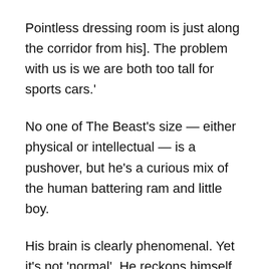Pointless dressing room is just along the corridor from his]. The problem with us is we are both too tall for sports cars.'
No one of The Beast's size — either physical or intellectual — is a pushover, but he's a curious mix of the human battering ram and little boy.
His brain is clearly phenomenal. Yet it's not 'normal'. He reckons himself that he's probably on the autism spectrum. He had a raft of tests done for the show, all of which showed him way up into genius level when it came to IQ.
They also did one that measured emotional